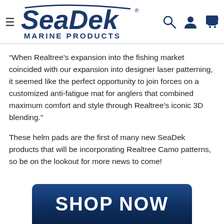[Figure (logo): SeaDek Marine Products logo in blue with search, user, and cart icons]
“When Realtree’s expansion into the fishing market coincided with our expansion into designer laser patterning, it seemed like the perfect opportunity to join forces on a customized anti-fatigue mat for anglers that combined maximum comfort and style through Realtree’s iconic 3D blending.”
These helm pads are the first of many new SeaDek products that will be incorporating Realtree Camo patterns, so be on the lookout for more news to come!
[Figure (other): SHOP NOW button in dark navy blue]